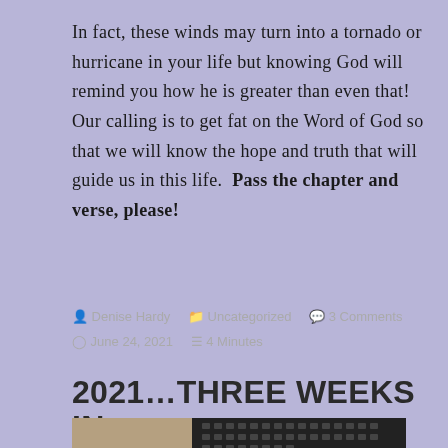In fact, these winds may turn into a tornado or hurricane in your life but knowing God will remind you how he is greater than even that! Our calling is to get fat on the Word of God so that we will know the hope and truth that will guide us in this life.  Pass the chapter and verse, please!
Denise Hardy   Uncategorized   3 Comments   June 24, 2021   4 Minutes
2021…THREE WEEKS IN
[Figure (photo): Partial view of a laptop keyboard on a wooden surface]